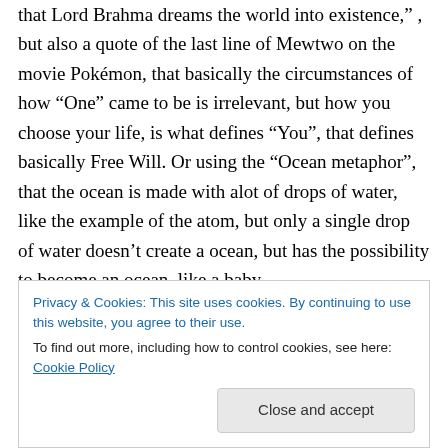that Lord Brahma dreams the world into existence,” , but also a quote of the last line of Mewtwo on the movie Pokémon, that basically the circumstances of how “One” came to be is irrelevant, but how you choose your life, is what defines “You”, that defines basically Free Will. Or using the “Ocean metaphor”, that the ocean is made with alot of drops of water, like the example of the atom, but only a single drop of water doesn’t create a ocean, but has the possibility to become an ocean, like a baby
Privacy & Cookies: This site uses cookies. By continuing to use this website, you agree to their use. To find out more, including how to control cookies, see here: Cookie Policy
perceive and understand itself, that is also aware